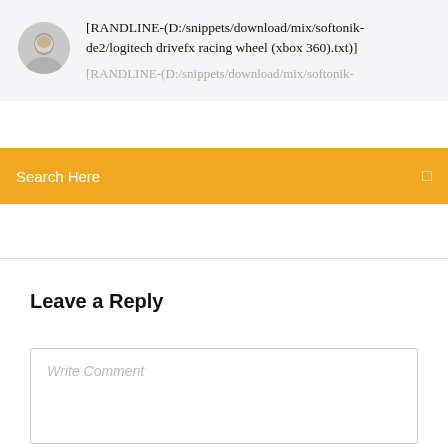[RANDLINE-(D:/snippets/download/mix/softonik-de2/logitech drivefx racing wheel (xbox 360).txt)]
[RANDLINE-(D:/snippets/download/mix/softonik-
Search Here
Leave a Reply
Write Comment